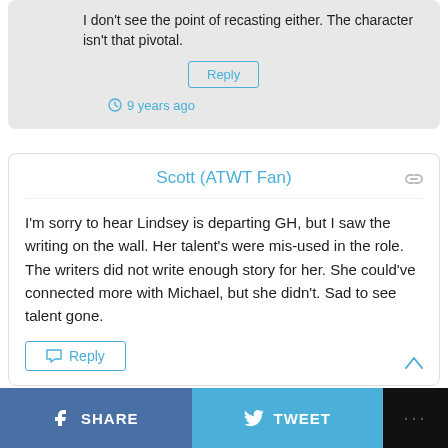I don't see the point of recasting either. The character isn't that pivotal.
Reply
9 years ago
Scott (ATWT Fan)
I'm sorry to hear Lindsey is departing GH, but I saw the writing on the wall. Her talent's were mis-used in the role. The writers did not write enough story for her. She could've connected more with Michael, but she didn't. Sad to see talent gone.
Reply
9 years ago
SHARE   TWEET   ...